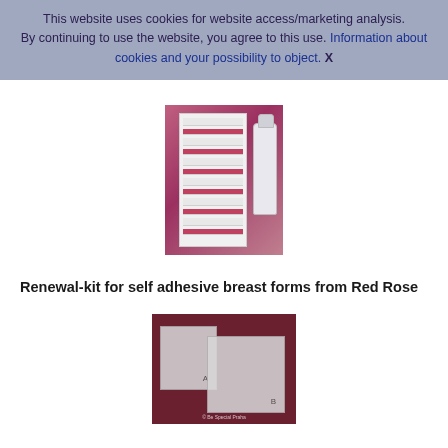This website uses cookies for website access/marketing analysis. By continuing to use the website, you agree to this use. Information about cookies and your possibility to object. X
[Figure (photo): Photo of a medical adhesive remover spray product with white/grey can against a pink-purple background]
Renewal-kit for self adhesive breast forms from Red Rose
[Figure (photo): Photo of two transparent/grey plastic bags labeled A and B on a dark red/brown surface, part of the renewal kit for self adhesive breast forms]